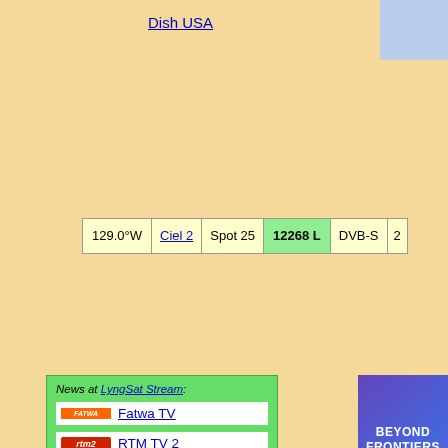Dish USA
| 129.0°W | Ciel 2 | Spot 25 | 12268 L | DVB-S |  |
| --- | --- | --- | --- | --- | --- |
News at LyngSat Stream:
Fatwa TV
RTM TV 2
[Figure (logo): SES Beyond Frontiers advertisement]
| SID |  | Channel Name |  | Video | VPID | APID | La |
| --- | --- | --- | --- | --- | --- | --- | --- |
| 7200 | abc6 logo | WSYX-TV |  | MPEG-2 SD |  |  | En |
| 7201 | 10 logo | WBNS-TV |  | MPEG-2 SD |  |  | En |
| 7202 | NBC4 logo | WCMH-TV |  | MPEG-2 SD |  |  | En |
Ciel 2 12268 L © LyngSat, last updated 2022-09-01 - https://www.lyng...